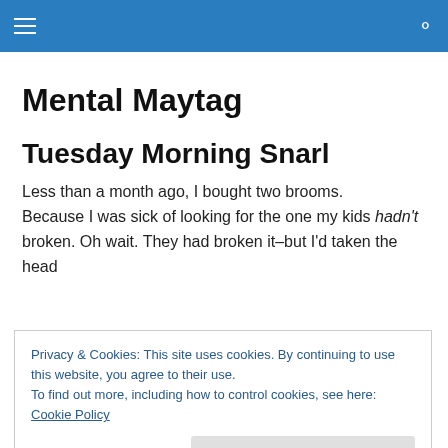Mental Maytag – navigation header bar
Mental Maytag
Tuesday Morning Snarl
Less than a month ago, I bought two brooms. Because I was sick of looking for the one my kids hadn't broken. Oh wait. They had broken it–but I'd taken the head
Privacy & Cookies: This site uses cookies. By continuing to use this website, you agree to their use.
To find out more, including how to control cookies, see here: Cookie Policy
Close and accept
Oh no. That couldn't be